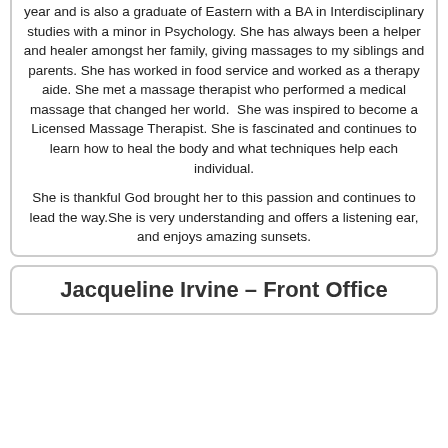year and is also a graduate of Eastern with a BA in Interdisciplinary studies with a minor in Psychology. She has always been a helper and healer amongst her family, giving massages to my siblings and parents. She has worked in food service and worked as a therapy aide. She met a massage therapist who performed a medical massage that changed her world. She was inspired to become a Licensed Massage Therapist. She is fascinated and continues to learn how to heal the body and what techniques help each individual.

She is thankful God brought her to this passion and continues to lead the way.She is very understanding and offers a listening ear, and enjoys amazing sunsets.
Jacqueline Irvine – Front Office